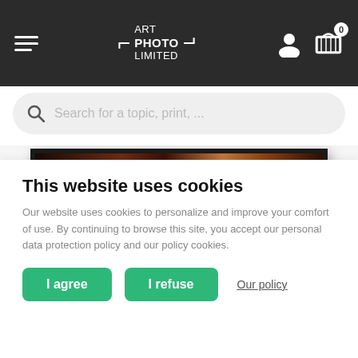[Figure (screenshot): Website header with dark background showing hamburger menu, Art Photo Limited logo, user icon and cart with 0 items]
[Figure (screenshot): Search bar with placeholder text 'Search for a topic, print, ...']
[Figure (photo): Partially visible photograph in a framed print showing dark, warm-toned image]
The Rolling Stones 1970
This website uses cookies
Our website uses cookies to personalize and improve your comfort of use. By continuing to browse this site, you accept our personal data protection policy and our policy cookies.
I agree | I refuse | Our policy